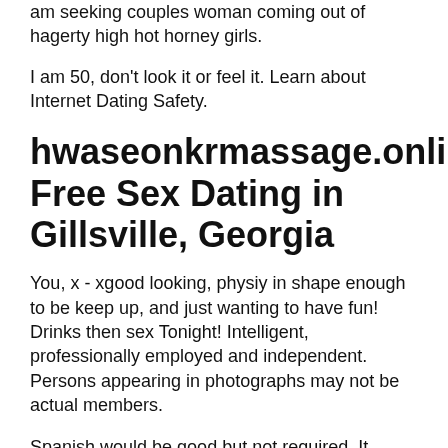am seeking couples woman coming out of hagerty high hot horney girls.
I am 50, don't look it or feel it. Learn about Internet Dating Safety.
hwaseonkrmassage.online: Free Sex Dating in Gillsville, Georgia
You, x - xgood looking, physiy in shape enough to be keep up, and just wanting to have fun! Drinks then sex Tonight! Intelligent, professionally employed and independent. Persons appearing in photographs may not be actual members.
Spanish would be good but not required. It